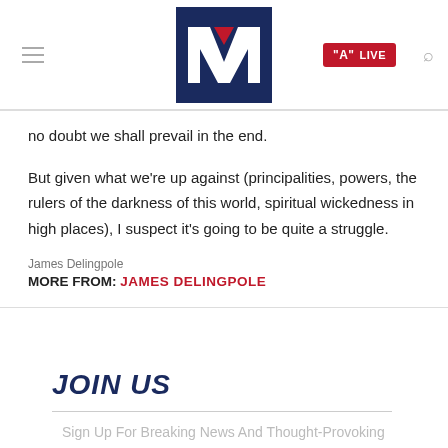LIVE
no doubt we shall prevail in the end.
But given what we're up against (principalities, powers, the rulers of the darkness of this world, spiritual wickedness in high places), I suspect it's going to be quite a struggle.
James Delingpole
MORE FROM: JAMES DELINGPOLE
JOIN US
Sign Up For Breaking News And Thought-Provoking Commentary Delivered Directly To Your Inbox.